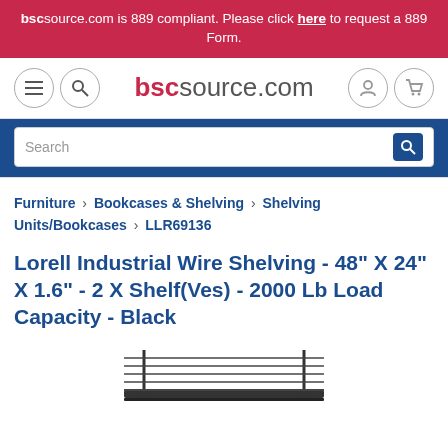bscsource.com is 889 compliant. Please click here to request a 889 Form.
[Figure (logo): bscsource.com logo with navigation icons (hamburger menu, search) on left and user/cart icons on right]
[Figure (screenshot): Blue search bar with white search input field and search icon]
Furniture > Bookcases & Shelving > Shelving Units/Bookcases > LLR69136
Lorell Industrial Wire Shelving - 48" X 24" X 1.6" - 2 X Shelf(Ves) - 2000 Lb Load Capacity - Black
[Figure (photo): Partial bottom image of black industrial wire shelving unit]